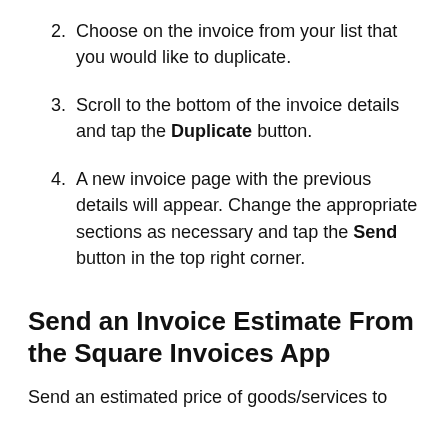2. Choose on the invoice from your list that you would like to duplicate.
3. Scroll to the bottom of the invoice details and tap the Duplicate button.
4. A new invoice page with the previous details will appear. Change the appropriate sections as necessary and tap the Send button in the top right corner.
Send an Invoice Estimate From the Square Invoices App
Send an estimated price of goods/services to